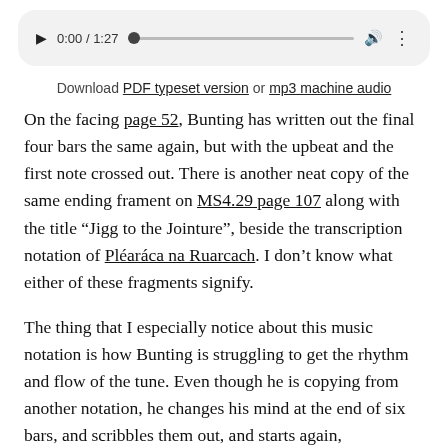[Figure (screenshot): Audio player bar showing play button, time 0:00 / 1:27, progress bar, volume icon, and options dots]
Download PDF typeset version or mp3 machine audio
On the facing page 52, Bunting has written out the final four bars the same again, but with the upbeat and the first note crossed out. There is another neat copy of the same ending frament on MS4.29 page 107 along with the title “Jigg to the Jointure”, beside the transcription notation of Pléaráca na Ruarcach. I don’t know what either of these fragments signify.
The thing that I especially notice about this music notation is how Bunting is struggling to get the rhythm and flow of the tune. Even though he is copying from another notation, he changes his mind at the end of six bars, and scribbles them out, and starts again, simplifying the quick runs of notes to make it more plain and to make it fit better into his